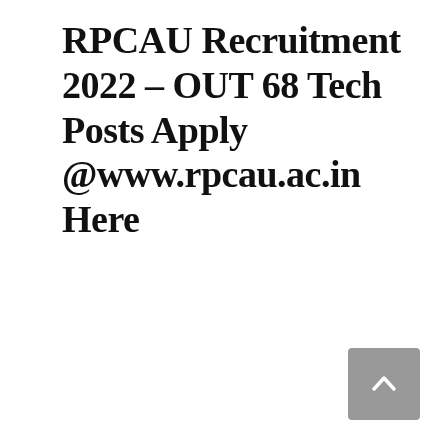RPCAU Recruitment 2022 – OUT 68 Tech Posts Apply @www.rpcau.ac.in Here